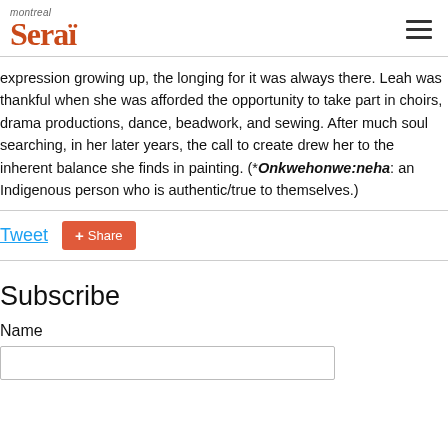montreal serai
expression growing up, the longing for it was always there. Leah was thankful when she was afforded the opportunity to take part in choirs, drama productions, dance, beadwork, and sewing. After much soul searching, in her later years, the call to create drew her to the inherent balance she finds in painting. (*Onkwehonwe:neha: an Indigenous person who is authentic/true to themselves.)
Tweet  Share
Subscribe
Name